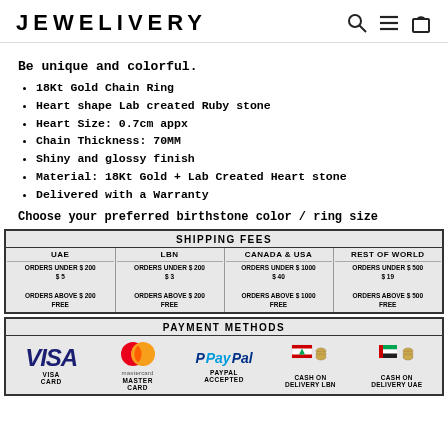JEWELIVERY
Be unique and colorful.
18Kt Gold Chain Ring
Heart shape Lab created Ruby stone
Heart Size: 0.7cm appx
Chain Thickness: 70MM
Shiny and glossy finish
Material: 18Kt Gold + Lab Created Heart stone
Delivered with a Warranty
Choose your preferred birthstone color / ring size
| UAE | LBN | CANADA & USA | REST OF WORLD |
| --- | --- | --- | --- |
| ORDERS UNDER $ 200
$ 5
ORDERS ABOVE $ 200
FREE | ORDERS UNDER $ 200
$ 3
ORDERS ABOVE $ 200
FREE | ORDERS UNDER $ 1000
$ 40
ORDERS ABOVE $ 1000
FREE | ORDERS UNDER $ 500
$ 19
ORDERS ABOVE $ 500
FREE |
[Figure (infographic): Payment methods section showing VISA, Mastercard, PayPal, Cash on Delivery LBN, and Cash on Delivery UAE logos]